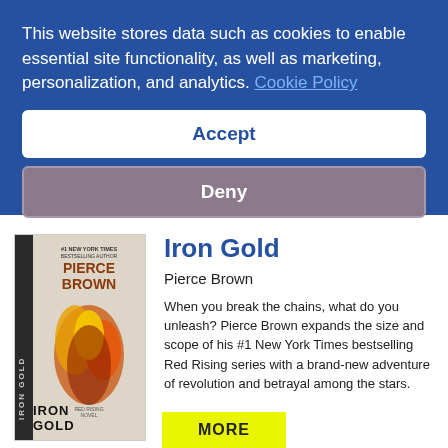This website stores data such as cookies to enable essential site functionality, as well as marketing, personalization, and analytics. Cookie Policy
Accept
Deny
[Figure (illustration): Book cover for Iron Gold by Pierce Brown, a Red Rising novel. Shows the title in large vertical letters with a fiery bird/phoenix figure on the cover.]
Iron Gold
Pierce Brown
When you break the chains, what do you unleash? Pierce Brown expands the size and scope of his #1 New York Times bestselling Red Rising series with a brand-new adventure of revolution and betrayal among the stars.
MORE